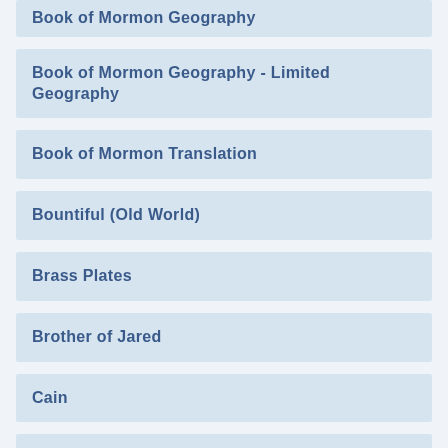Book of Mormon Geography
Book of Mormon Geography - Limited Geography
Book of Mormon Translation
Bountiful (Old World)
Brass Plates
Brother of Jared
Cain
Canon